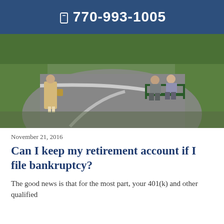📱 770-993-1005
[Figure (photo): Elderly people in a park — a woman in a floral dress standing on a curved pathway, and an older man seated on a green bench, with green grass in the background]
November 21, 2016
Can I keep my retirement account if I file bankruptcy?
The good news is that for the most part, your 401(k) and other qualified retirement accounts are protected in